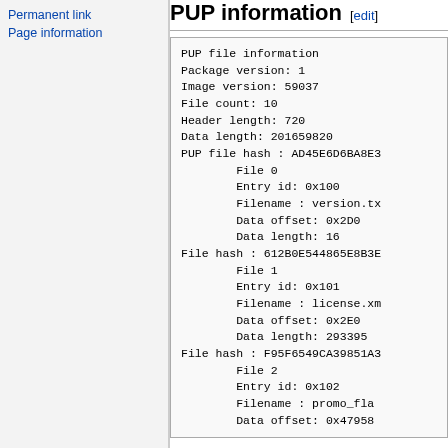Permanent link
Page information
PUP information [edit]
PUP file information
Package version: 1
Image version: 59037
File count: 10
Header length: 720
Data length: 201659820
PUP file hash : AD45E6D6BA8E3...
        File 0
        Entry id: 0x100
        Filename : version.tx...
        Data offset: 0x2D0
        Data length: 16
File hash : 612B0E544865E8B3E...
        File 1
        Entry id: 0x101
        Filename : license.xm...
        Data offset: 0x2E0
        Data length: 293395
File hash : F95F6549CA39851A3...
        File 2
        Entry id: 0x102
        Filename : promo_fla...
        Data offset: 0x47958...